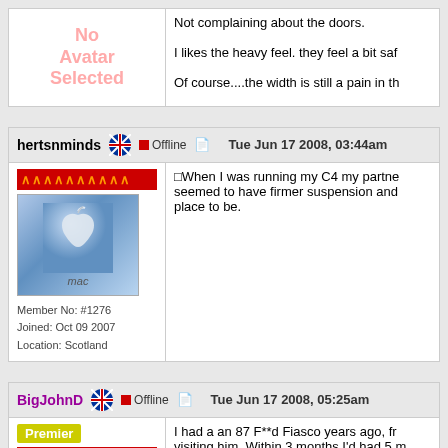Not complaining about the doors.

I likes the heavy feel. they feel a bit safe

Of course....the width is still a pain in th
[Figure (illustration): No Avatar Selected placeholder text in pink]
hertsnminds  Offline  Tue Jun 17 2008, 03:44am
[Figure (illustration): Mac logo avatar with chevron rank bar]
Member No: #1276
Joined: Oct 09 2007
Location: Scotland
When I was running my C4 my partner seemed to have firmer suspension and place to be.
BigJohnD  Offline  Tue Jun 17 2008, 05:25am
[Figure (illustration): Premier badge with red chevron rank bar]
I had a an 87 F**d Fiasco years ago, fr visiting him. Within 3 months I'd had 5 m in 5 or 6 had to be leaded (that was rea